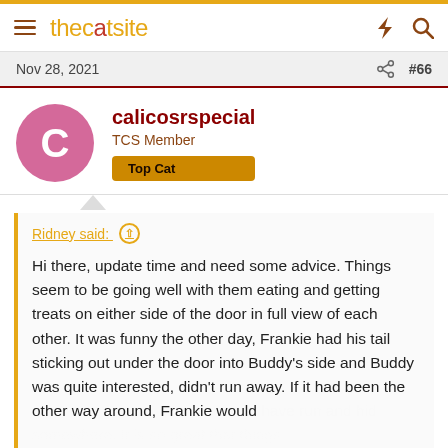thecatsite
Nov 28, 2021   #66
calicosrspecial
TCS Member
Top Cat
Ridney said: ↑

Hi there, update time and need some advice. Things seem to be going well with them eating and getting treats on either side of the door in full view of each other. It was funny the other day, Frankie had his tail sticking out under the door into Buddy's side and Buddy was quite interested, didn't run away. If it had been the other way around, Frankie would...
Click to expand...